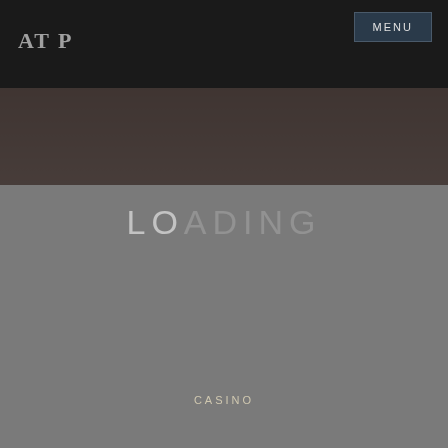AT P
[Figure (photo): Dark hero image area with dim background showing a dark room or casino environment]
CASINO
RULES THAT HELP YOU IN SLOT
PUBLISH ON AUGUST 19, 2021  BY ATP
Faking itself is a workmanship and it is difficult for everyone to comprehend. Imagine comes in most unmistakable games where